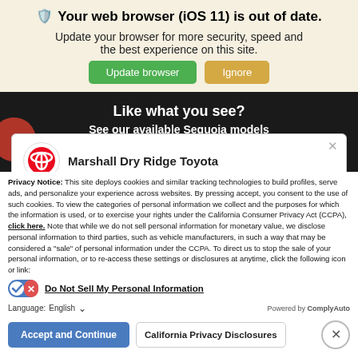Your web browser (iOS 11) is out of date.
Update your browser for more security, speed and the best experience on this site.
Update browser | Ignore
Like what you see?
See our available Sequoia models
Marshall Dry Ridge Toyota
Privacy Notice: This site deploys cookies and similar tracking technologies to build profiles, serve ads, and personalize your experience across websites. By pressing accept, you consent to the use of such cookies. To view the categories of personal information we collect and the purposes for which the information is used, or to exercise your rights under the California Consumer Privacy Act (CCPA), click here. Note that while we do not sell personal information for monetary value, we disclose personal information to third parties, such as vehicle manufacturers, in such a way that may be considered a "sale" of personal information under the CCPA. To direct us to stop the sale of your personal information, or to re-access these settings or disclosures at anytime, click the following icon or link:
Do Not Sell My Personal Information
Language: English
Powered by ComplyAuto
Accept and Continue | California Privacy Disclosures